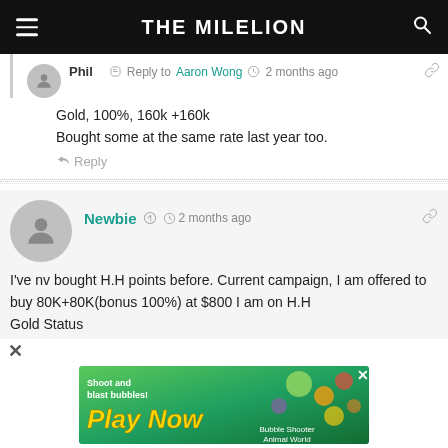THE MILELION
Reply to Aaron Wong  2 months ago
Gold, 100%, 160k +160k
Bought some at the same rate last year too.
Reply
Newbie  2 months ago
I've nv bought H.H points before. Current campaign, I am offered to buy 80K+80K(bonus 100%) at $800 I am on H.H Gold Status